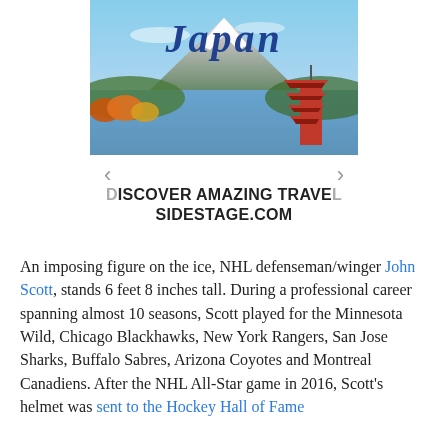[Figure (photo): Japan travel advertisement banner showing Mount Fuji, a red pagoda, autumn trees, and the text 'Japan' in italic blue script. Navigation arrows on either side.]
DISCOVER AMAZING TRAVEL SIDESTAGE.COM
An imposing figure on the ice, NHL defenseman/winger John Scott, stands 6 feet 8 inches tall. During a professional career spanning almost 10 seasons, Scott played for the Minnesota Wild, Chicago Blackhawks, New York Rangers, San Jose Sharks, Buffalo Sabres, Arizona Coyotes and Montreal Canadiens. After the NHL All-Star game in 2016, Scott's helmet was sent to the Hockey Hall of Fame